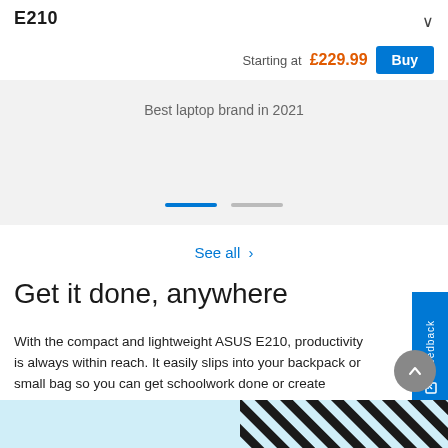E210
Starting at £229.99
Best laptop brand in 2021
See all >
Get it done, anywhere
With the compact and lightweight ASUS E210, productivity is always within reach. It easily slips into your backpack or small bag so you can get schoolwork done or create content wherever you are.